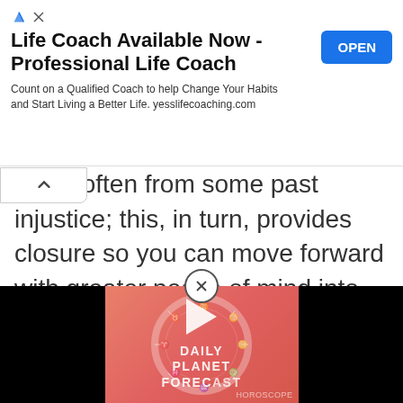[Figure (screenshot): Advertisement banner: 'Life Coach Available Now - Professional Life Coach' with blue OPEN button and ad attribution icons. Subtitle: 'Count on a Qualified Coach to help Change Your Habits and Start Living a Better Life. yesslifecoaching.com']
ir life, often from some past injustice; this, in turn, provides closure so you can move forward with greater peace of mind into something fresh and new.
[Figure (screenshot): Video player thumbnail showing 'Daily Planet Forecast' with a coral/pink zodiac wheel background and a play button. HOROSCOPE branding at bottom right. Close (X) button above.]